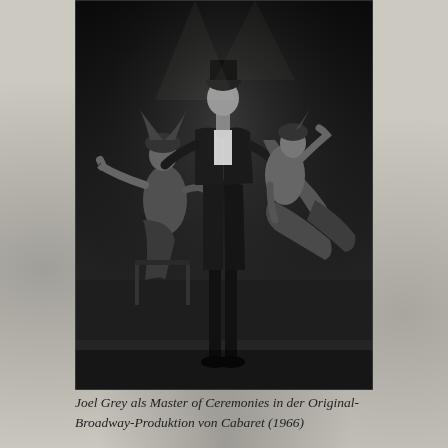[Figure (photo): Black and white photograph of Joel Grey as Master of Ceremonies in the original Broadway production of Cabaret (1966), showing performers on stage including dancers in costume.]
Joel Grey als Master of Ceremonies in der Original-Broadway-Produktion von Cabaret (1966)
The study comprising a main and a side project examines how European cultural history and politics is refracted through the prism of the musical as one of the most popular performance genres.